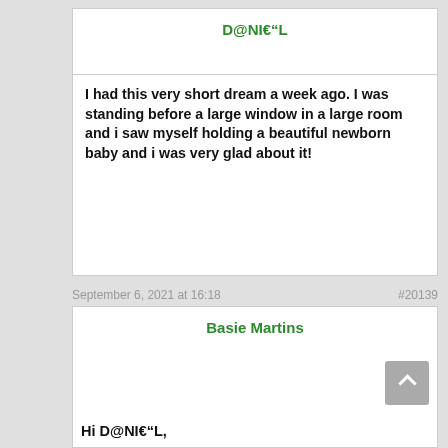D@NI€"L
I had this very short dream a week ago. I was standing before a large window in a large room and i saw myself holding a beautiful newborn baby and i was very glad about it!
September 6, 2021 at 16:18
#20139
Basie Martins
Hi D@NI€"L,